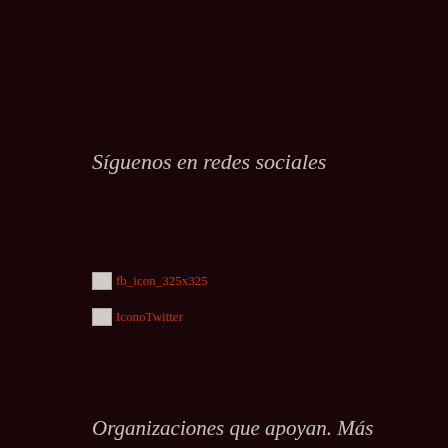Síguenos en redes sociales
[Figure (other): Broken image placeholder for fb_icon_325x325]
[Figure (other): Broken image placeholder for IconoTwitter]
Organizaciones que apoyan. Más apoyos son bienvenidos
[Figure (other): Broken image placeholder for Ecologistas logo_castellano_250px]
[Figure (other): Broken image placeholder for vientosur]
[Figure (other): Broken image placeholder for Solidarites]
[Figure (other): Broken image placeholder for Imprimir]